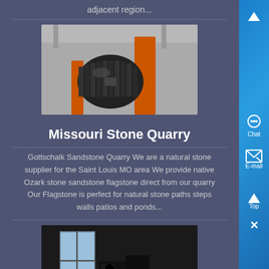adjacent region...
[Figure (photo): Industrial machine with orange and dark metal components in a factory setting]
Missouri Stone Quarry
Gottschalk Sandstone Quarry We are a natural stone supplier for the Saint Louis MO area We provide native Ozark stone sandstone flagstone direct from our quarry Our Flagstone is perfect for natural stone paths steps walls patios and ponds...
[Figure (photo): Dark workshop interior with machinery and a worker silhouetted near a window]